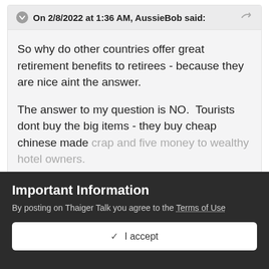On 2/8/2022 at 1:36 AM, AussieBob said:
So why do other countries offer great retirement benefits to retirees - because they are nice aint the answer.

The answer to my question is NO.  Tourists dont buy the big items - they buy cheap chinese made crap and five money to wealthy hotel owners.
Expand
I'm not saying Thailand shouldn't want to attract
Important Information
By posting on Thaiger Talk you agree to the Terms of Use
✓  I accept